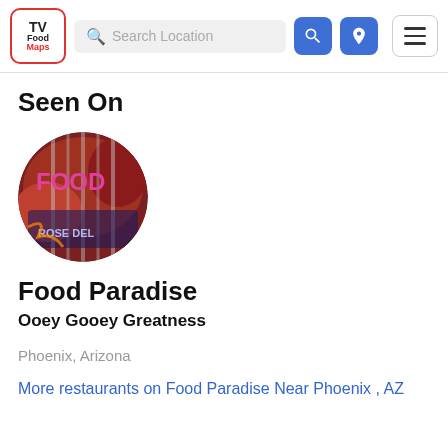TV FoodMaps | Search Location
Seen On
[Figure (photo): Circular photo thumbnail of a restaurant interior with neon signs and the word FOOD in pink text overlay. This is the Food Paradise show logo/thumbnail.]
Food Paradise
Ooey Gooey Greatness
Phoenix, Arizona
More restaurants on Food Paradise Near Phoenix , AZ